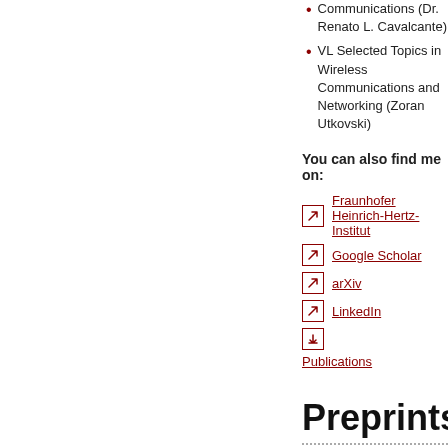VL Selected Topics in Wireless Communications and Networking (Zoran Utkovski)
You can also find me on:
Fraunhofer Heinrich-Hertz-Institut
Google Scholar
arXiv
LinkedIn
Publications
Preprints
<< previous  1 | 2
J. Schreck and P. Jung and S. Stancza (2015). Compressive Rate Estimation…